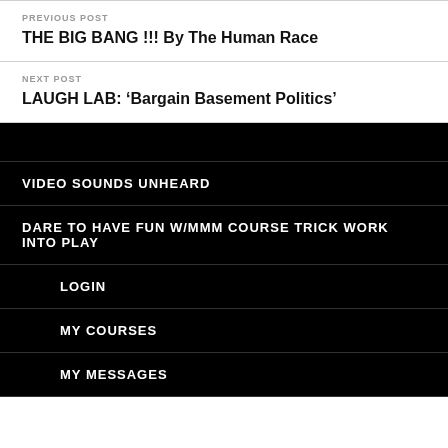PREVIOUS POST
THE BIG BANG !!! By The Human Race
NEXT POST
LAUGH LAB: ‘Bargain Basement Politics’
VIDEO SOUNDS UNHEARD
DARE TO HAVE FUN W/MMM COURSE TRICK WORK INTO PLAY
LOGIN
MY COURSES
MY MESSAGES